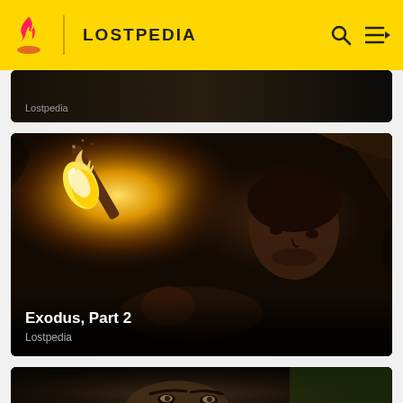LOSTPEDIA
[Figure (screenshot): Partial dark card at top showing 'Lostpedia' label]
[Figure (photo): Dark cinematic image from LOST episode showing a person holding a torch with flames, another person visible. Bottom overlay text: 'Exodus, Part 2' and 'Lostpedia']
[Figure (photo): Partial card at bottom showing a close-up face of a man in a dark scene]